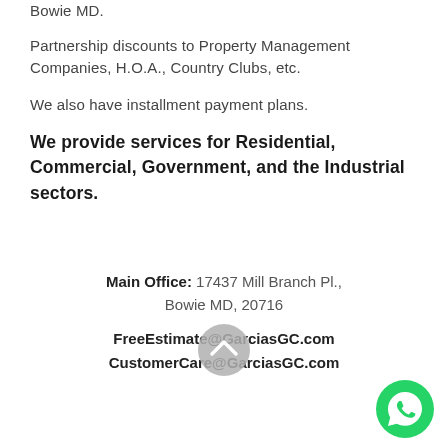Bowie MD.
Partnership discounts to Property Management Companies, H.O.A., Country Clubs, etc.
We also have installment payment plans.
We provide services for Residential, Commercial, Government, and the Industrial sectors.
Main Office: 17437 Mill Branch Pl., Bowie MD, 20716
FreeEstimate@GarciasGC.com
CustomerCare@GarciasGC.com